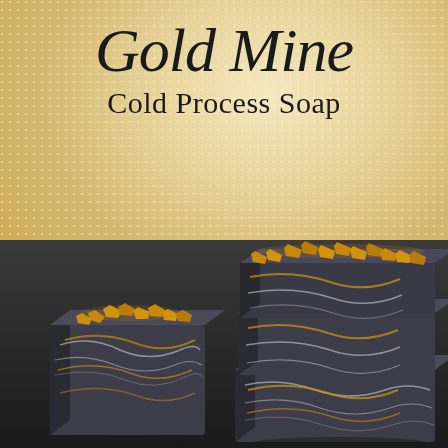[Figure (photo): Gold Mine Cold Process Soap product image. Dark charcoal/graphite colored soap bars stacked, decorated with gold metallic chunks/nuggets on top, with gold and white swirled marbling pattern visible on the sides. The background is a cream/gold pearlescent textured surface with a dotted pattern. Two bars on the left foreground and a stack of three bars on the right.]
Gold Mine Cold Process Soap